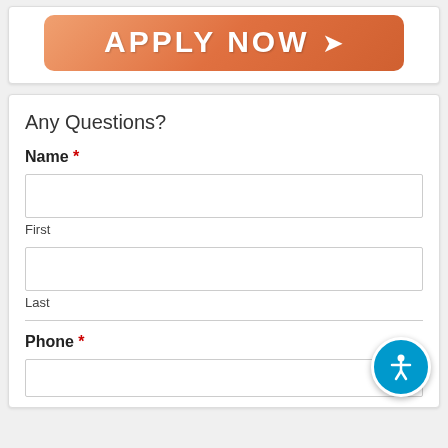[Figure (illustration): Orange gradient button with white bold text 'APPLY NOW' and a right-pointing arrow, rounded rectangle shape]
Any Questions?
Name *
First
Last
Phone *